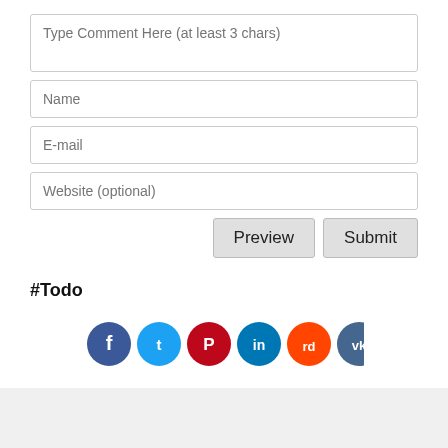Type Comment Here (at least 3 chars)
Name
E-mail
Website (optional)
Preview
Submit
#Todo
[Figure (other): Social sharing icons row: Facebook (dark blue), Twitter (light blue), Pinterest (red), LinkedIn (teal), Reddit (orange), VK (dark blue-grey)]